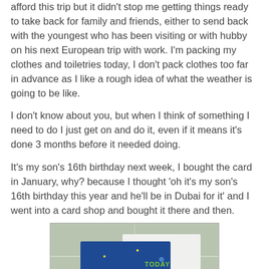afford this trip but it didn't stop me getting things ready to take back for family and friends, either to send back with the youngest who has been visiting or with hubby on his next European trip with work. I'm packing my clothes and toiletries today, I don't pack clothes too far in advance as I like a rough idea of what the weather is going to be like.
I don't know about you, but when I think of something I need to do I just get on and do it, even if it means it's done 3 months before it needed doing.
It's my son's 16th birthday next week, I bought the card in January, why? because I thought 'oh it's my son's 16th birthday this year and he'll be in Dubai for it' and I went into a card shop and bought it there and then.
[Figure (photo): A birthday card showing the number 16 in large colorful lettering on a blue background, with the word TODAY visible, placed against white tiles with some decorative items in the foreground.]